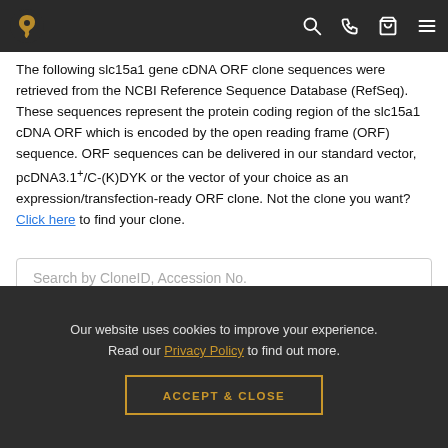[navigation bar with logo and icons: search, phone, cart, menu]
The following slc15a1 gene cDNA ORF clone sequences were retrieved from the NCBI Reference Sequence Database (RefSeq). These sequences represent the protein coding region of the slc15a1 cDNA ORF which is encoded by the open reading frame (ORF) sequence. ORF sequences can be delivered in our standard vector, pcDNA3.1+/C-(K)DYK or the vector of your choice as an expression/transfection-ready ORF clone. Not the clone you want? Click here to find your clone.
Search by CloneID, Accession No.
| ***CloneID | Accession No. | Definition | **Ve… |
| --- | --- | --- | --- |
Our website uses cookies to improve your experience. Read our Privacy Policy to find out more.
ACCEPT & CLOSE